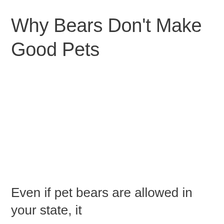Why Bears Don't Make Good Pets
Even if pet bears are allowed in your state, it